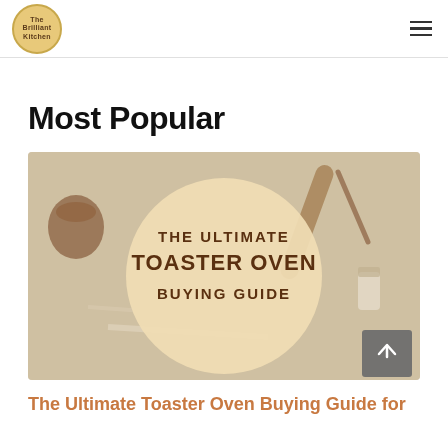Brilliant Kitchen
Most Popular
[Figure (illustration): The Ultimate Toaster Oven Buying Guide hero image — baking scene with rolling pin, flour, spices on a white surface, with a large beige circle overlay containing the text: THE ULTIMATE TOASTER OVEN BUYING GUIDE]
The Ultimate Toaster Oven Buying Guide for